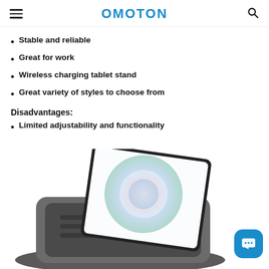OMOTON
Stable and reliable
Great for work
Wireless charging tablet stand
Great variety of styles to choose from
Disadvantages:
Limited adjustability and functionality
[Figure (photo): A tablet displayed on a foldable dark grey stand/holder with the tablet screen showing a colorful circular design. A blue chat button icon is in the bottom right corner.]